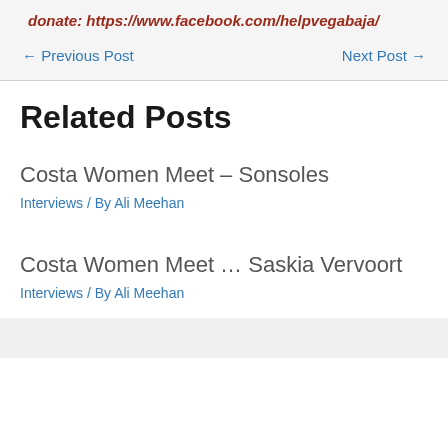donate: https://www.facebook.com/helpvegabaja/
← Previous Post    Next Post →
Related Posts
Costa Women Meet – Sonsoles
Interviews / By Ali Meehan
Costa Women Meet … Saskia Vervoort
Interviews / By Ali Meehan